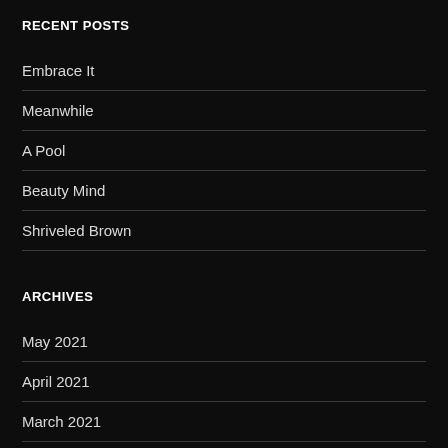RECENT POSTS
Embrace It
Meanwhile
A Pool
Beauty Mind
Shriveled Brown
ARCHIVES
May 2021
April 2021
March 2021
June 2015